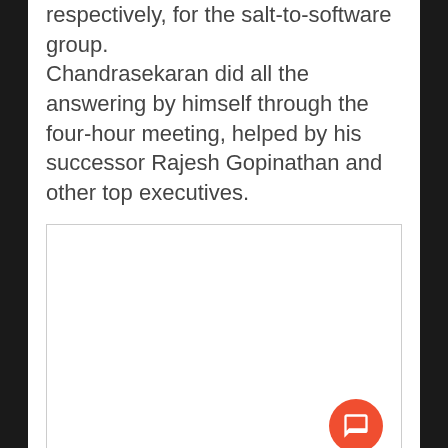respectively, for the salt-to-software group. Chandrasekaran did all the answering by himself through the four-hour meeting, helped by his successor Rajesh Gopinathan and other top executives.
[Figure (other): A white rectangular image placeholder box with a thin grey border and an orange circular chat/comment button in the bottom-right corner.]